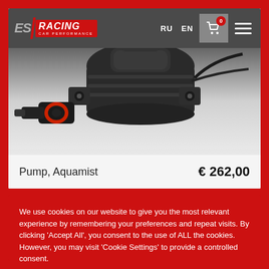[Figure (screenshot): ES Racing car performance website header with logo, RU/EN language switcher, shopping cart icon with 0 badge, and hamburger menu on dark grey background.]
[Figure (photo): Close-up photo of a black Aquamist pump with red ring fitting, shown on a white/grey gradient background.]
Pump, Aquamist
€ 262,00
We use cookies on our website to give you the most relevant experience by remembering your preferences and repeat visits. By clicking 'Accept All', you consent to the use of ALL the cookies. However, you may visit 'Cookie Settings' to provide a controlled consent.
Cookie Settings
Accept